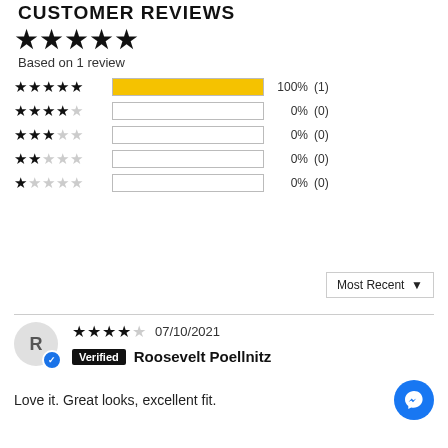CUSTOMER REVIEWS
[Figure (other): 5 filled black stars rating display]
Based on 1 review
[Figure (bar-chart): Rating distribution]
Most Recent ▼
★★★★☆ 07/10/2021
Verified Roosevelt Poellnitz
Love it. Great looks, excellent fit.